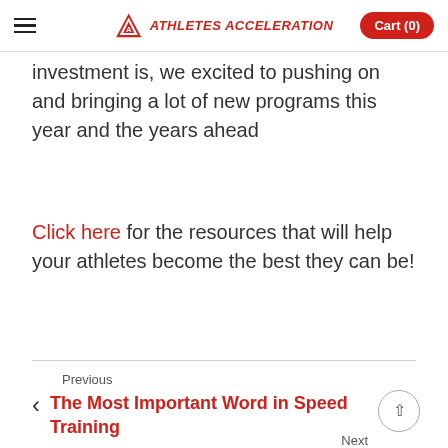ATHLETES ACCELERATION | Cart (0)
investment is, we excited to pushing on and bringing a lot of new programs this year and the years ahead
Click here for the resources that will help your athletes become the best they can be!
Previous
< The Most Important Word in Speed Training
Next